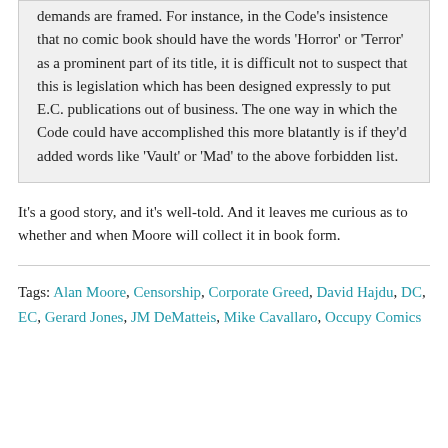demands are framed. For instance, in the Code's insistence that no comic book should have the words 'Horror' or 'Terror' as a prominent part of its title, it is difficult not to suspect that this is legislation which has been designed expressly to put E.C. publications out of business. The one way in which the Code could have accomplished this more blatantly is if they'd added words like 'Vault' or 'Mad' to the above forbidden list.
It's a good story, and it's well-told. And it leaves me curious as to whether and when Moore will collect it in book form.
Tags: Alan Moore, Censorship, Corporate Greed, David Hajdu, DC, EC, Gerard Jones, JM DeMatteis, Mike Cavallaro, Occupy Comics